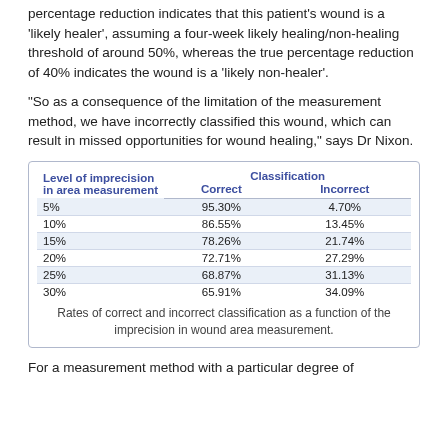percentage reduction indicates that this patient's wound is a 'likely healer', assuming a four-week likely healing/non-healing threshold of around 50%, whereas the true percentage reduction of 40% indicates the wound is a 'likely non-healer'.
“So as a consequence of the limitation of the measurement method, we have incorrectly classified this wound, which can result in missed opportunities for wound healing,” says Dr Nixon.
| Level of imprecision in area measurement | Correct | Incorrect |
| --- | --- | --- |
| 5% | 95.30% | 4.70% |
| 10% | 86.55% | 13.45% |
| 15% | 78.26% | 21.74% |
| 20% | 72.71% | 27.29% |
| 25% | 68.87% | 31.13% |
| 30% | 65.91% | 34.09% |
Rates of correct and incorrect classification as a function of the imprecision in wound area measurement.
For a measurement method with a particular degree of